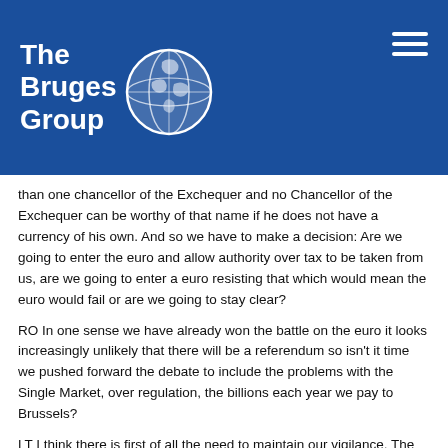[Figure (logo): The Bruges Group logo with globe icon on blue background header, with hamburger menu icon top right]
than one chancellor of the Exchequer and no Chancellor of the Exchequer can be worthy of that name if he does not have a currency of his own. And so we have to make a decision: Are we going to enter the euro and allow authority over tax to be taken from us, are we going to enter a euro resisting that which would mean the euro would fail or are we going to stay clear?
RO In one sense we have already won the battle on the euro it looks increasingly unlikely that there will be a referendum so isn't it time we pushed forward the debate to include the problems with the Single Market, over regulation, the billions each year we pay to Brussels?
LT I think there is first of all the need to maintain our vigilance. The Government dare not propose a euro